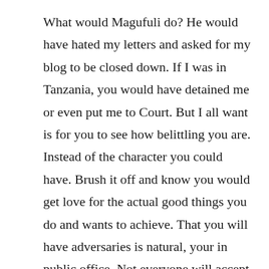What would Magufuli do? He would have hated my letters and asked for my blog to be closed down. If I was in Tanzania, you would have detained me or even put me to Court. But I all want is for you to see how belittling you are. Instead of the character you could have. Brush it off and know you would get love for the actual good things you do and wants to achieve. That you will have adversaries is natural, your in public office. Not everyone will accept your policies and your statements. If you we're saint and not an ordinary person. Which by heart you are, since your so offended by being called “hypocrite”, that you suspend a paper.
It would be necessary to give you love, but it is time for tough love and learn some humility Mr. President, His Excellency.